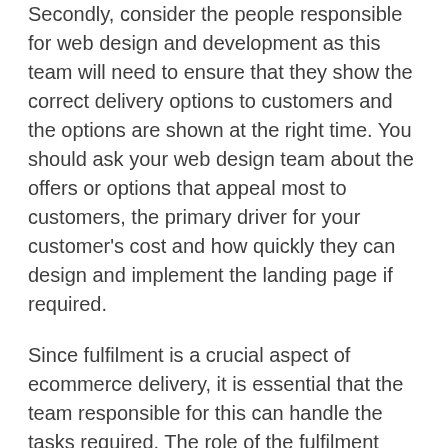Secondly, consider the people responsible for web design and development as this team will need to ensure that they show the correct delivery options to customers and the options are shown at the right time. You should ask your web design team about the offers or options that appeal most to customers, the primary driver for your customer's cost and how quickly they can design and implement the landing page if required.
Since fulfilment is a crucial aspect of ecommerce delivery, it is essential that the team responsible for this can handle the tasks required. The role of the fulfilment team will begin when they pick, pack, and ship products accurately, and they must perform their tasks on time every time. Ensuring that they conduct their tasks accurately is vital regardless of which option customers choose, and they must be able to handle fulfilment proficiently. It can also be said that the fulfilment team is the most important in